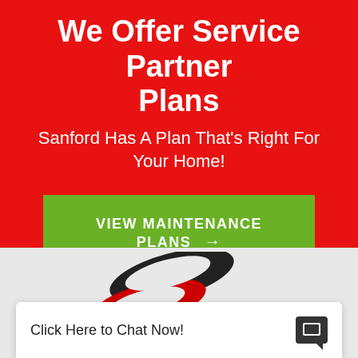We Offer Service Partner Plans
Sanford Has A Plan That's Right For Your Home!
[Figure (other): Green call-to-action button reading VIEW MAINTENANCE PLANS with arrow]
[Figure (logo): Partial Sanford logo visible in gray section]
Click Here to Chat Now!